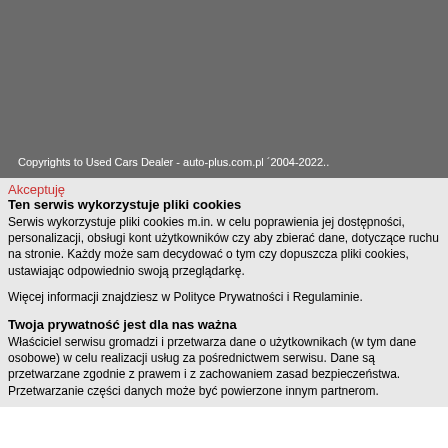[Figure (other): Gray banner background covering upper portion of the page]
Copyrights to Used Cars Dealer - auto-plus.com.pl ´2004-2022..
Akceptuję
Ten serwis wykorzystuje pliki cookies
Serwis wykorzystuje pliki cookies m.in. w celu poprawienia jej dostępności, personalizacji, obsługi kont użytkowników czy aby zbierać dane, dotyczące ruchu na stronie. Każdy może sam decydować o tym czy dopuszcza pliki cookies, ustawiając odpowiednio swoją przeglądarkę.
Więcej informacji znajdziesz w Polityce Prywatności i Regulaminie.
Twoja prywatność jest dla nas ważna
Właściciel serwisu gromadzi i przetwarza dane o użytkownikach (w tym dane osobowe) w celu realizacji usług za pośrednictwem serwisu. Dane są przetwarzane zgodnie z prawem i z zachowaniem zasad bezpieczeństwa. Przetwarzanie części danych może być powierzone innym partnerom.